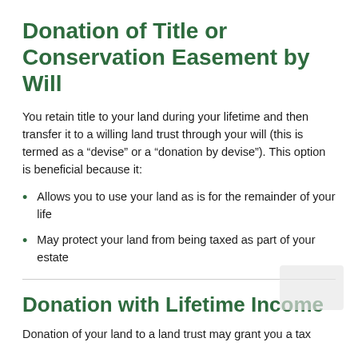Donation of Title or Conservation Easement by Will
You retain title to your land during your lifetime and then transfer it to a willing land trust through your will (this is termed as a “devise” or a “donation by devise”). This option is beneficial because it:
Allows you to use your land as is for the remainder of your life
May protect your land from being taxed as part of your estate
Donation with Lifetime Income
Donation of your land to a land trust may grant you a tax...